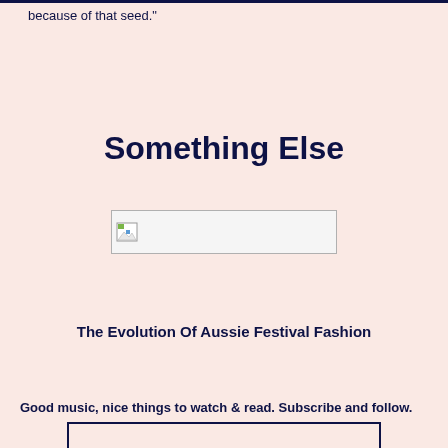because of that seed."
Something Else
[Figure (photo): Broken image placeholder with small icon in top-left, wide rectangular box with light border]
The Evolution Of Aussie Festival Fashion
Good music, nice things to watch & read. Subscribe and follow.